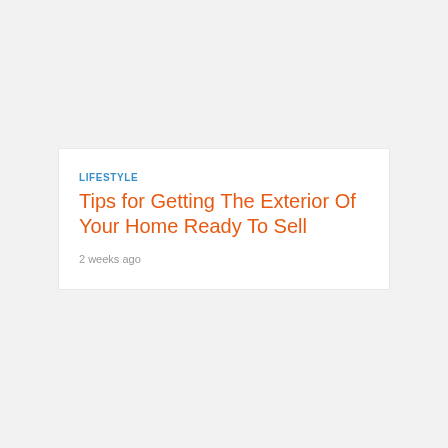LIFESTYLE
Tips for Getting The Exterior Of Your Home Ready To Sell
2 weeks ago